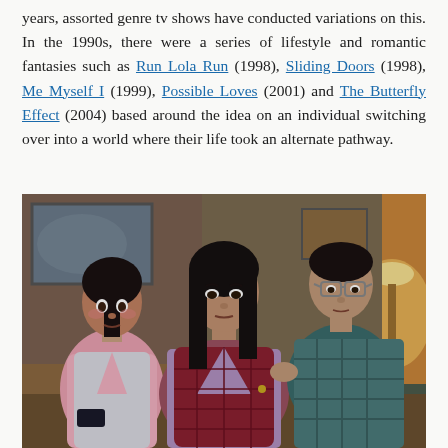years, assorted genre tv shows have conducted variations on this. In the 1990s, there were a series of lifestyle and romantic fantasies such as Run Lola Run (1998), Sliding Doors (1998), Me Myself I (1999), Possible Loves (2001) and The Butterfly Effect (2004) based around the idea on an individual switching over into a world where their life took an alternate pathway.
[Figure (photo): Still from a film showing three Asian actors in what appears to be an office setting. A woman in a pink polo shirt with a vest is on the left looking alarmed, a woman in a floral top with a red quilted vest is in the center, and a man in a teal plaid shirt with glasses is behind her on the right. Warm lamp light is visible on the right side.]